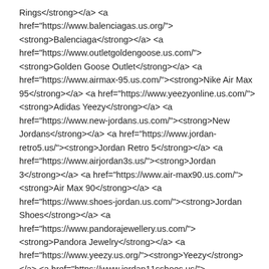Rings</strong></a> <a href="https://www.balenciagas.us.org/"><strong>Balenciaga</strong></a> <a href="https://www.outletgoldengoose.us.com/"><strong>Golden Goose Outlet</strong></a> <a href="https://www.airmax-95.us.com/"><strong>Nike Air Max 95</strong></a> <a href="https://www.yeezyonline.us.com/"><strong>Adidas Yeezy</strong></a> <a href="https://www.new-jordans.us.com/"><strong>New Jordans</strong></a> <a href="https://www.jordan-retro5.us/"><strong>Jordan Retro 5</strong></a> <a href="https://www.airjordan3s.us/"><strong>Jordan 3</strong></a> <a href="https://www.air-max90.us.com/"><strong>Air Max 90</strong></a> <a href="https://www.shoes-jordan.us.com/"><strong>Jordan Shoes</strong></a> <a href="https://www.pandorajewellery.us.com/"><strong>Pandora Jewelry</strong></a> <a href="https://www.yeezy.us.org/"><strong>Yeezy</strong></a> <a href="https://www.jordan11sshoes.us/"><strong>Jordan 11's</strong></a> <a href="https://www.fitflop-shoes.us.org/"><strong>Fitflop Shoes</strong></a> <a href="https://www.nikeshoesoutletfactory.us.com/"><strong>Nike Outlet</strong></a> <a href="https://www.newjordansshoes.us.com/"><strong>New Jordans 2021</strong></a> <a